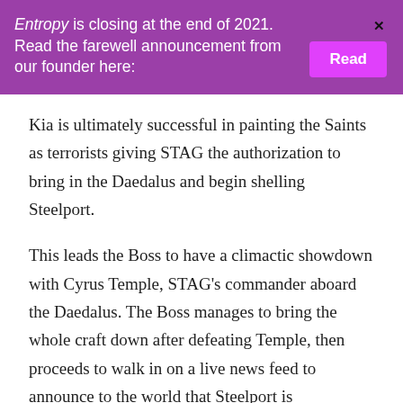Entropy is closing at the end of 2021. Read the farewell announcement from our founder here: [Read]
Kia is ultimately successful in painting the Saints as terrorists giving STAG the authorization to bring in the Daedalus and begin shelling Steelport.
This leads the Boss to have a climactic showdown with Cyrus Temple, STAG's commander aboard the Daedalus. The Boss manages to bring the whole craft down after defeating Temple, then proceeds to walk in on a live news feed to announce to the world that Steelport is